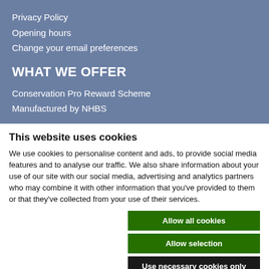Privacy Policy
Opening hours
Change your email preferences
WHAT WE OFFER
Conservation Pro Reward Scheme
Manufactured by NHBS
This website uses cookies
We use cookies to personalise content and ads, to provide social media features and to analyse our traffic. We also share information about your use of our site with our social media, advertising and analytics partners who may combine it with other information that you've provided to them or that they've collected from your use of their services.
Allow all cookies
Allow selection
Use necessary cookies only
Necessary | Preferences | Statistics | Marketing | Show details